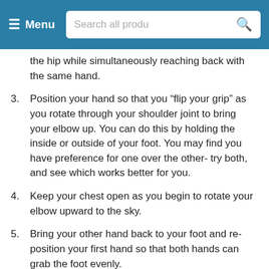Menu | Search all produ
the hip while simultaneously reaching back with the same hand.
3. Position your hand so that you “flip your grip” as you rotate through your shoulder joint to bring your elbow up. You can do this by holding the inside or outside of your foot. You may find you have preference for one over the other- try both, and see which works better for you.
4. Keep your chest open as you begin to rotate your elbow upward to the sky.
5. Bring your other hand back to your foot and re-position your first hand so that both hands can grab the foot evenly.
6. Come out of the position carefully and with control.